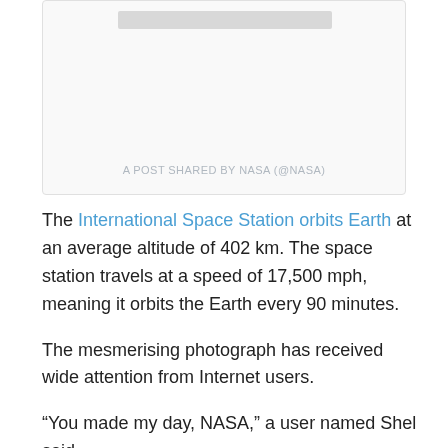[Figure (screenshot): Instagram embed placeholder showing 'A POST SHARED BY NASA (@NASA)']
The International Space Station orbits Earth at an average altitude of 402 km. The space station travels at a speed of 17,500 mph, meaning it orbits the Earth every 90 minutes.
The mesmerising photograph has received wide attention from Internet users.
“You made my day, NASA,” a user named Shel said.
“That’s here. That’s home. That’s us,” said another, with the username Aron Visuals.
Africa is the second-largest continent in the world. It is an isolated landmass with only a small land bridge, connecting